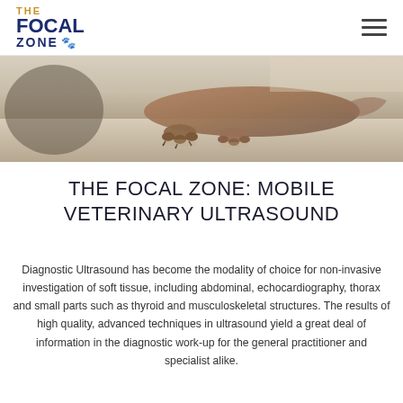THE FOCAL ZONE
[Figure (photo): Hero banner photo showing a dog lying on a wooden floor, with close-up of paws and lower body visible.]
THE FOCAL ZONE: MOBILE VETERINARY ULTRASOUND
Diagnostic Ultrasound has become the modality of choice for non-invasive investigation of soft tissue, including abdominal, echocardiography, thorax and small parts such as thyroid and musculoskeletal structures. The results of high quality, advanced techniques in ultrasound yield a great deal of information in the diagnostic work-up for the general practitioner and specialist alike.